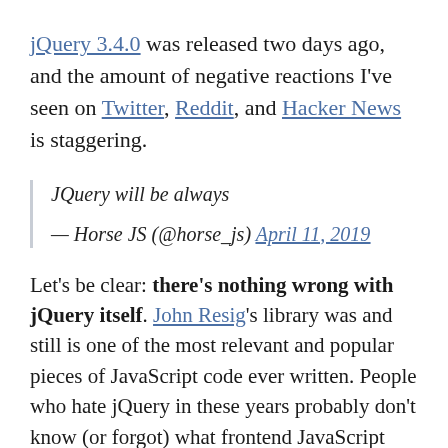jQuery 3.4.0 was released two days ago, and the amount of negative reactions I've seen on Twitter, Reddit, and Hacker News is staggering.
JQuery will be always
— Horse JS (@horse_js) April 11, 2019
Let's be clear: there's nothing wrong with jQuery itself. John Resig's library was and still is one of the most relevant and popular pieces of JavaScript code ever written. People who hate jQuery in these years probably don't know (or forgot) what frontend JavaScript development used to be like, and/or are blaming the library